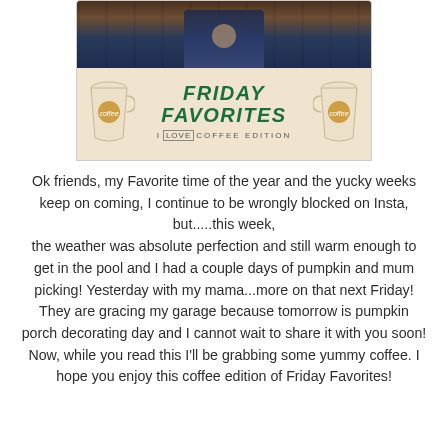[Figure (photo): Blog post header image showing Friday Favorites I Love Coffee Edition, with a photo of a person at top and illustrated coffee cups on a beige background below]
Ok friends, my Favorite time of the year and the yucky weeks keep on coming, I continue to be wrongly blocked on Insta, but.....this week, the weather was absolute perfection and still warm enough to get in the pool and I had a couple days of pumpkin and mum picking! Yesterday with my mama...more on that next Friday! They are gracing my garage because tomorrow is pumpkin porch decorating day and I cannot wait to share it with you soon! Now, while you read this I'll be grabbing some yummy coffee. I hope you enjoy this coffee edition of Friday Favorites!